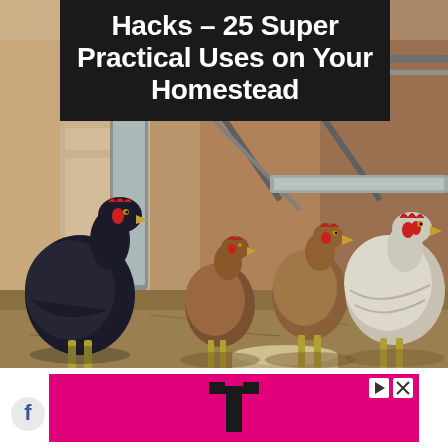[Figure (photo): Photo of several chickens inside a barn or chicken coop. Multiple hens of different colors (black, brown/white) are visible standing on dirt/hay floor. There is a metal feeder cylinder in the background and wooden/metal structures visible. Warm earthy tones dominate the background walls.]
Hacks – 25 Super Practical Uses on Your Homestead
[Figure (logo): T-Mobile advertisement banner. Magenta/pink background with a large black T-Mobile T logo in the center. Small play and close icons in the top right corner.]